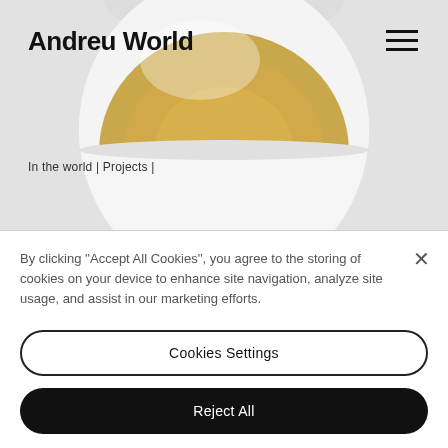[Figure (photo): A white dome pendant lamp with gold interior, hanging against a light gray background]
Andreu World
In the world | Projects |
By clicking ''Accept All Cookies'', you agree to the storing of cookies on your device to enhance site navigation, analyze site usage, and assist in our marketing efforts.
Cookies Settings
Reject All